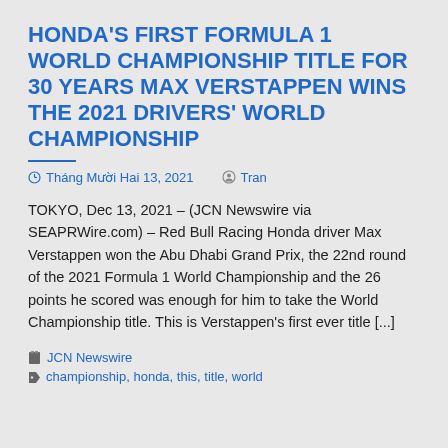HONDA'S FIRST FORMULA 1 WORLD CHAMPIONSHIP TITLE FOR 30 YEARS MAX VERSTAPPEN WINS THE 2021 DRIVERS' WORLD CHAMPIONSHIP
Tháng Mười Hai 13, 2021   Tran
TOKYO, Dec 13, 2021 – (JCN Newswire via SEAPRWire.com) – Red Bull Racing Honda driver Max Verstappen won the Abu Dhabi Grand Prix, the 22nd round of the 2021 Formula 1 World Championship and the 26 points he scored was enough for him to take the World Championship title. This is Verstappen's first ever title [...]
JCN Newswire
championship, honda, this, title, world